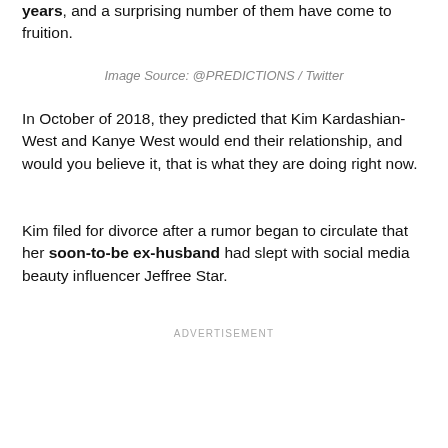years, and a surprising number of them have come to fruition.
Image Source: @PREDICTIONS / Twitter
In October of 2018, they predicted that Kim Kardashian-West and Kanye West would end their relationship, and would you believe it, that is what they are doing right now.
Kim filed for divorce after a rumor began to circulate that her soon-to-be ex-husband had slept with social media beauty influencer Jeffree Star.
ADVERTISEMENT